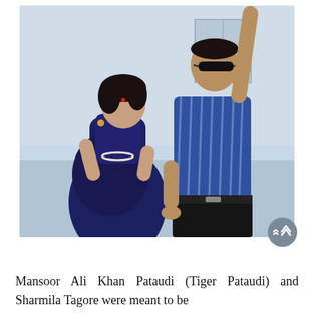[Figure (photo): A vintage photograph of Mansoor Ali Khan Pataudi (Tiger Pataudi) and Sharmila Tagore posing together. Sharmila Tagore is wearing a dark blue saree with pearl necklace, and Mansoor Ali Khan is wearing a blue striped shirt with dark trousers and sunglasses, with one arm raised against a wall.]
Mansoor Ali Khan Pataudi (Tiger Pataudi) and Sharmila Tagore were meant to be